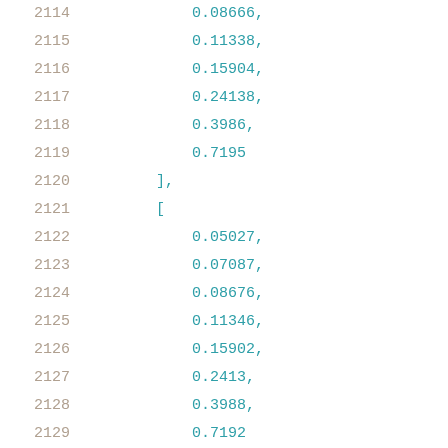2114    0.08666,
2115    0.11338,
2116    0.15904,
2117    0.24138,
2118    0.3986,
2119    0.7195
2120    ],
2121    [
2122    0.05027,
2123    0.07087,
2124    0.08676,
2125    0.11346,
2126    0.15902,
2127    0.2413,
2128    0.3988,
2129    0.7192
2130    ],
2131    [
2132    0.0511,
2133    0.0714,
2134    0.0872,